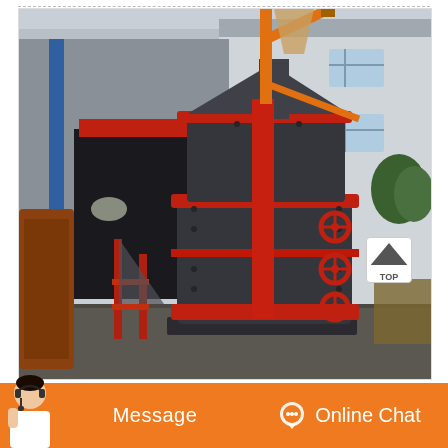[Figure (photo): Large industrial crusher/pulverizer machine painted dark grey and red, outdoors in front of a factory building. The cylindrical machine has red horizontal bands and red valve wheels on its side. An orange crane arm extends from the top. A red staircase/scaffold is visible to the left. The background shows a steel factory building and trees.]
Message
Online Chat